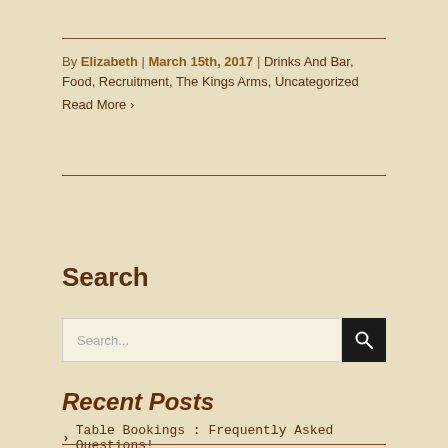By Elizabeth | March 15th, 2017 | Drinks And Bar, Food, Recruitment, The Kings Arms, Uncategorized
Read More >
Search
Recent Posts
> Table Bookings : Frequently Asked Questions!